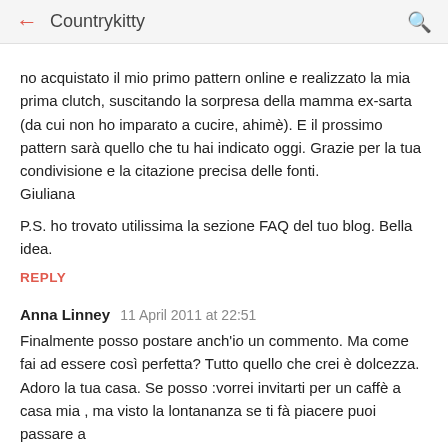Countrykitty
no acquistato il mio primo pattern online e realizzato la mia prima clutch, suscitando la sorpresa della mamma ex-sarta (da cui non ho imparato a cucire, ahimè). E il prossimo pattern sarà quello che tu hai indicato oggi. Grazie per la tua condivisione e la citazione precisa delle fonti.
Giuliana

P.S. ho trovato utilissima la sezione FAQ del tuo blog. Bella idea.
REPLY
Anna Linney  11 April 2011 at 22:51
Finalmente posso postare anch'io un commento. Ma come fai ad essere così perfetta? Tutto quello che crei è dolcezza. Adoro la tua casa. Se posso :vorrei invitarti per un caffè a casa mia , ma visto la lontananza se ti fà piacere puoi passare a